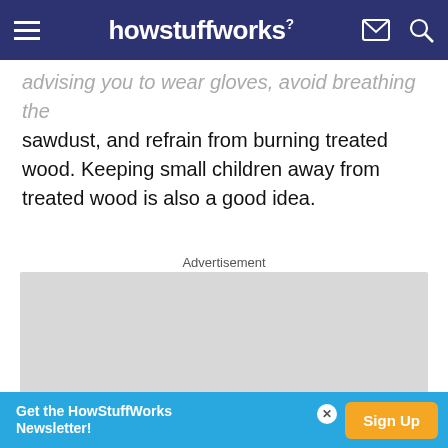howstuffworks
advising you to wear gloves, avoid breathing the sawdust, and refrain from burning treated wood. Keeping small children away from treated wood is also a good idea.
Advertisement
[Figure (other): Gray advertisement placeholder box]
Get the HowStuffWorks Newsletter! Sign Up